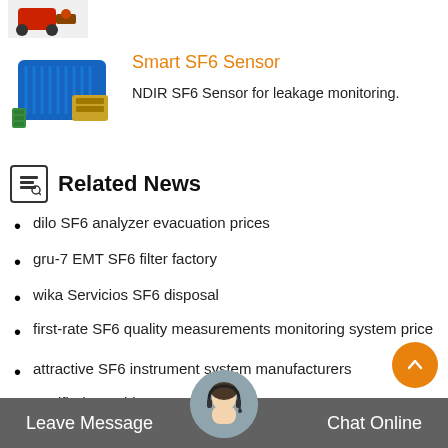[Figure (photo): Partial view of a red mechanical device at top left corner]
[Figure (photo): Blue electronic sensor device (Smart SF6 Sensor) with green terminals]
Smart SF6 Sensor
NDIR SF6 Sensor for leakage monitoring.
Related News
dilo SF6 analyzer evacuation prices
gru-7 EMT SF6 filter factory
wika Servicios SF6 disposal
first-rate SF6 quality measurements monitoring system price
attractive SF6 instrument system manufacturers
certified portable SF6 coupling factory
SF6 lease fittings pricing
Leave Message   Chat Online